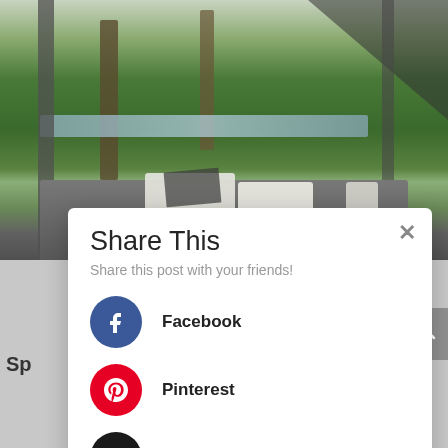[Figure (photo): Outdoor scene visible through a structure frame, showing trees, water/lake in background, green grass, and a grey daybed/lounger with white pillows and a white cylindrical object on the right]
Share This
Share this post with your friends!
Facebook
Pinterest
Amazon